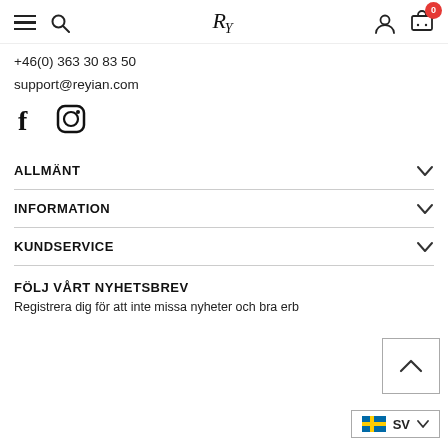Navigation header with hamburger menu, search, RY logo, user icon, cart with badge 0
+46(0) 363 30 83 50
support@reyian.com
[Figure (illustration): Facebook and Instagram social media icons]
ALLMÄNT
INFORMATION
KUNDSERVICE
FÖLJ VÅRT NYHETSBREV
Registrera dig för att inte missa nyheter och bra erb